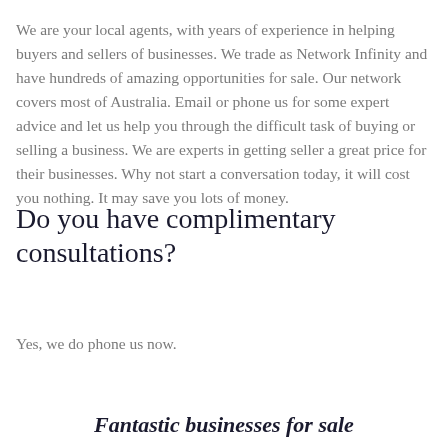We are your local agents, with years of experience in helping buyers and sellers of businesses. We trade as Network Infinity and have hundreds of amazing opportunities for sale. Our network covers most of Australia. Email or phone us for some expert advice and let us help you through the difficult task of buying or selling a business. We are experts in getting seller a great price for their businesses. Why not start a conversation today, it will cost you nothing. It may save you lots of money.
Do you have complimentary consultations?
Yes, we do phone us now.
Fantastic businesses for sale